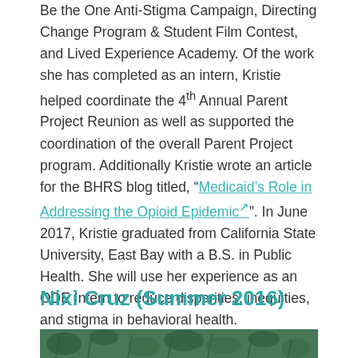Be the One Anti-Stigma Campaign, Directing Change Program & Student Film Contest, and Lived Experience Academy. Of the work she has completed as an intern, Kristie helped coordinate the 4th Annual Parent Project Reunion as well as supported the coordination of the overall Parent Project program. Additionally Kristie wrote an article for the BHRS blog titled, “Medicaid’s Role in Addressing the Opioid Epidemic⁠⁠’”. In June 2017, Kristie graduated from California State University, East Bay with a B.S. in Public Health. She will use her experience as an ODE Intern to reduce disparities, inequities, and stigma in behavioral health.
Nixi Cruz (Summer 2016)
[Figure (photo): Partial view of a photo showing green foliage/plants, cropped at bottom of page]